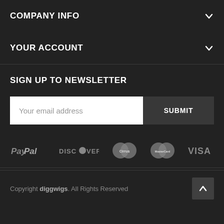COMPANY INFO
YOUR ACCOUNT
SIGN UP TO NEWSLETTER
Your email address
SUBMIT
[Figure (logo): Payment logos: PayPal, DISCOVER, Cirrus, MasterCard, VISA]
Copyright diggwigs. All Rights Reserved